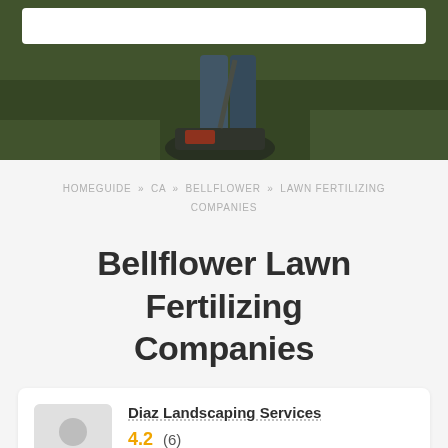[Figure (photo): Hero image showing a person mowing a lawn with a lawnmower on green grass, with a white search bar overlay at top]
HOMEGUIDE » CA » BELLFLOWER » LAWN FERTILIZING COMPANIES
Bellflower Lawn Fertilizing Companies
Diaz Landscaping Services
4.2 (6)